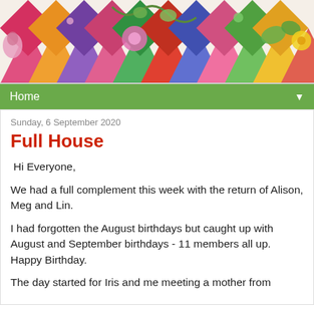[Figure (photo): Colorful patchwork quilt banner image with triangular diamond shapes in various fabrics and floral embroidery patterns on white background.]
Home ▼
Sunday, 6 September 2020
Full House
Hi Everyone,
We had a full complement this week with the return of Alison, Meg and Lin.
I had forgotten the August birthdays but caught up with August and September birthdays - 11 members all up. Happy Birthday.
The day started for Iris and me meeting a mother from